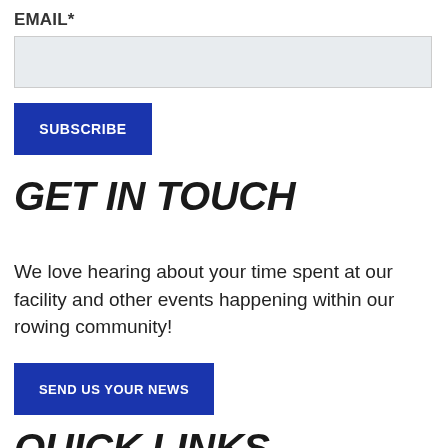EMAIL*
SUBSCRIBE
GET IN TOUCH
We love hearing about your time spent at our facility and other events happening within our rowing community!
SEND US YOUR NEWS
QUICK LINKS